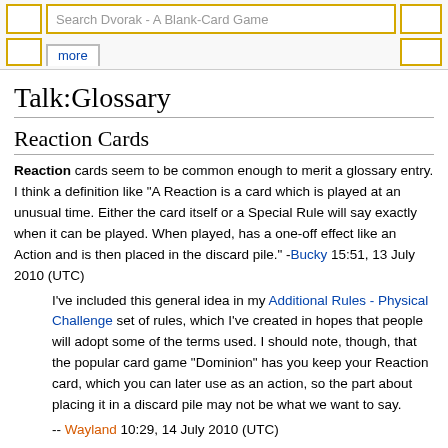Search Dvorak - A Blank-Card Game | more
Talk:Glossary
Reaction Cards
Reaction cards seem to be common enough to merit a glossary entry. I think a definition like "A Reaction is a card which is played at an unusual time. Either the card itself or a Special Rule will say exactly when it can be played. When played, has a one-off effect like an Action and is then placed in the discard pile." -Bucky 15:51, 13 July 2010 (UTC)
I've included this general idea in my Additional Rules - Physical Challenge set of rules, which I've created in hopes that people will adopt some of the terms used. I should note, though, that the popular card game "Dominion" has you keep your Reaction card, which you can later use as an action, so the part about placing it in a discard pile may not be what we want to say.
-- Wayland 10:29, 14 July 2010 (UTC)
Rival